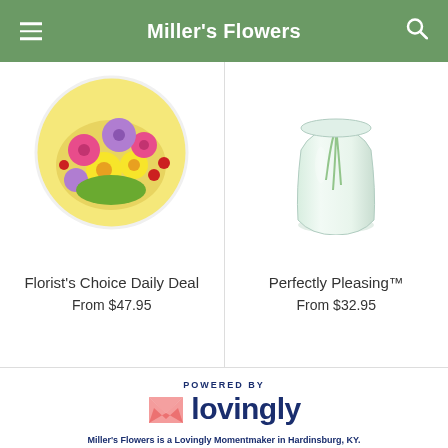Miller's Flowers
[Figure (photo): Florist's Choice Daily Deal flower arrangement in a circular shape with pink, purple, and yellow flowers]
Florist's Choice Daily Deal
From $47.95
[Figure (photo): Perfectly Pleasing flower arrangement in a clear glass vase with green stems]
Perfectly Pleasing™
From $32.95
[Figure (logo): Lovingly logo with pink heart/envelope icon and dark blue text reading 'lovingly', above text 'POWERED BY']
Miller's Flowers is a Lovingly Momentmaker in Hardinsburg, KY.
Buying local matters. Discover how Lovingly is committed to strengthening